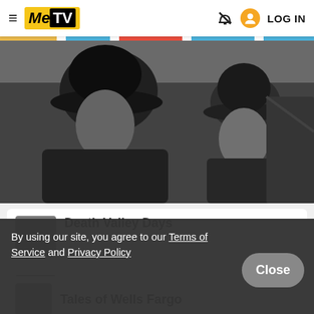MeTV - LOG IN
[Figure (photo): Black and white still from a western TV show featuring two men in cowboy hats, one older and one younger, appearing to have a conversation outdoors.]
Death Valley Days
By using our site, you agree to our Terms of Service and Privacy Policy
Close
The Rifleman
Tales of Wells Fargo